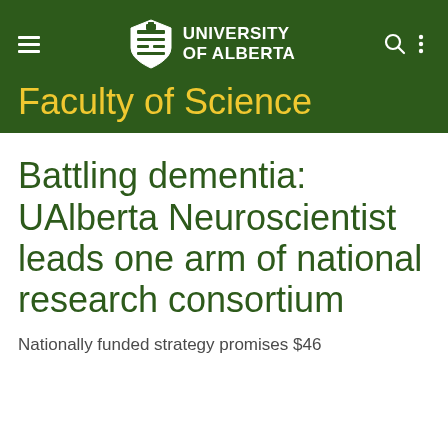UNIVERSITY OF ALBERTA — Faculty of Science
Battling dementia: UAlberta Neuroscientist leads one arm of national research consortium
Nationally funded strategy promises $46